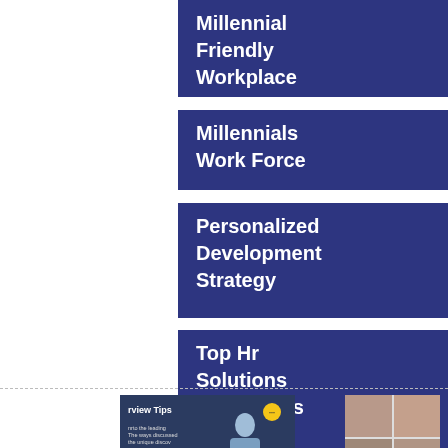Millennial Friendly Workplace
Millennials Work Force
Personalized Development Strategy
Top Hr Solutions Companies
[Figure (photo): Thumbnail image of an interview tips document/graphic with a person silhouette and yellow circle badge]
[Figure (photo): Grid of four photos showing women's faces in a video call or team collage layout]